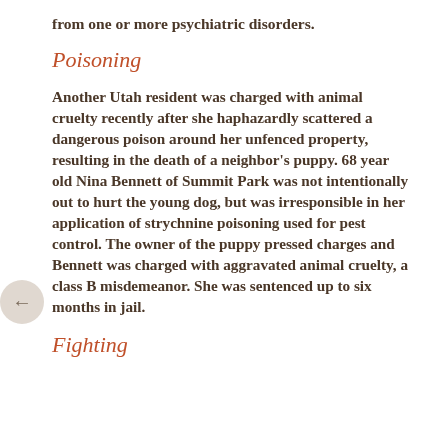from one or more psychiatric disorders.
Poisoning
Another Utah resident was charged with animal cruelty recently after she haphazardly scattered a dangerous poison around her unfenced property, resulting in the death of a neighbor's puppy. 68 year old Nina Bennett of Summit Park was not intentionally out to hurt the young dog, but was irresponsible in her application of strychnine poisoning used for pest control. The owner of the puppy pressed charges and Bennett was charged with aggravated animal cruelty, a class B misdemeanor. She was sentenced up to six months in jail.
Fighting